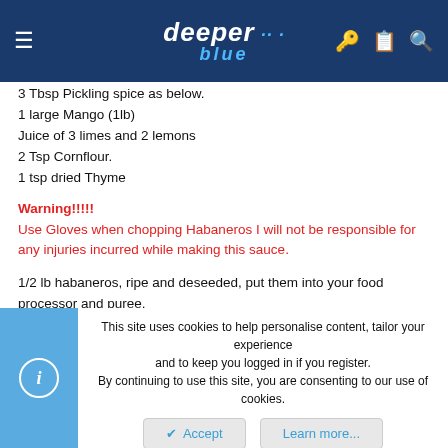deeper blue
3 Tbsp Pickling spice as below.
1 large Mango (1lb)
Juice of 3 limes and 2 lemons
2 Tsp Cornflour.
1 tsp dried Thyme
Warning!!!!!
Use Gloves when chopping Habaneros I will not be responsible for any injuries incurred while making this sauce.
1/2 lb habaneros, ripe and deseeded, put them into your food processor and puree.
get 1 cup of vinegar I used white boring vinegar cause' thats all I had.
boil 3 tablespoons of pickling spice up with the vinegar
This site uses cookies to help personalise content, tailor your experience and to keep you logged in if you register.
By continuing to use this site, you are consenting to our use of cookies.